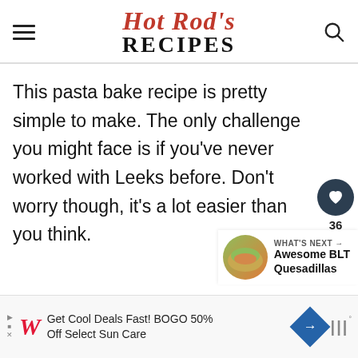Hot Rod's RECIPES
This pasta bake recipe is pretty simple to make. The only challenge you might face is if you've never worked with Leeks before. Don't worry though, it's a lot easier than you think.
[Figure (infographic): Heart/like button with count 36, and share button on right side floating panel]
[Figure (infographic): What's Next panel with food image thumbnail and text: Awesome BLT Quesadillas]
[Figure (infographic): Advertisement banner: Get Cool Deals Fast! BOGO 50% Off Select Sun Care - Walgreens]